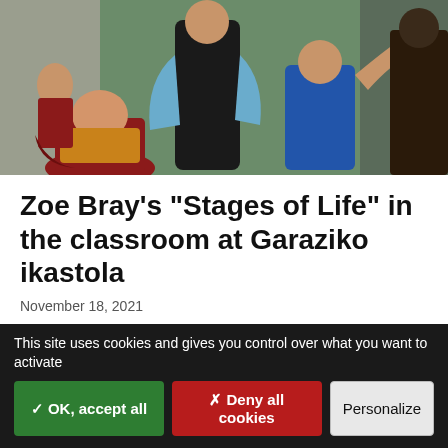[Figure (illustration): A painting showing multiple female figures of different ages in vivid colors — a child in yellow-orange, a figure in dark clothing in the center, a person in blue draped fabric, a child in blue clothing, and a figure in dark red/maroon sitting. The background has muted green and grey tones.]
Zoe Bray's "Stages of Life" in the classroom at Garaziko ikastola
November 18, 2021
Earlier this month, the children of Garaziko ikastola in St Jean Pied de Port encountered some new classmates: seven female figures of different ages and
This site uses cookies and gives you control over what you want to activate
✓ OK, accept all
✗ Deny all cookies
Personalize